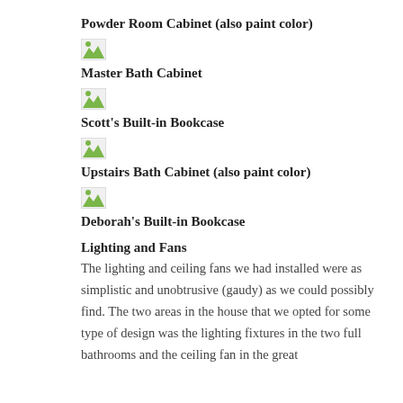Powder Room Cabinet (also paint color)
[Figure (photo): Broken/missing image placeholder for Powder Room Cabinet]
Master Bath Cabinet
[Figure (photo): Broken/missing image placeholder for Master Bath Cabinet]
Scott's Built-in Bookcase
[Figure (photo): Broken/missing image placeholder for Upstairs Bath Cabinet]
Upstairs Bath Cabinet (also paint color)
[Figure (photo): Broken/missing image placeholder for Deborah's Built-in Bookcase]
Deborah's Built-in Bookcase
Lighting and Fans
The lighting and ceiling fans we had installed were as simplistic and unobtrusive (gaudy) as we could possibly find. The two areas in the house that we opted for some type of design was the lighting fixtures in the two full bathrooms and the ceiling fan in the great